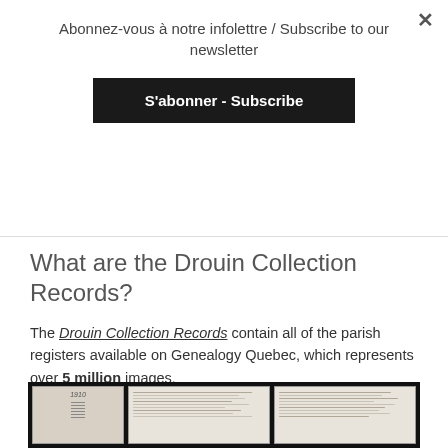Abonnez-vous à notre infolettre / Subscribe to our newsletter
S'abonner - Subscribe
What are the Drouin Collection Records?
The Drouin Collection Records contain all of the parish registers available on Genealogy Quebec, which represents over 5 million images.
[Figure (photo): Historical handwritten parish register documents, showing two open books with cursive handwriting on aged paper, against a black background. The left page shows the year 1910.]